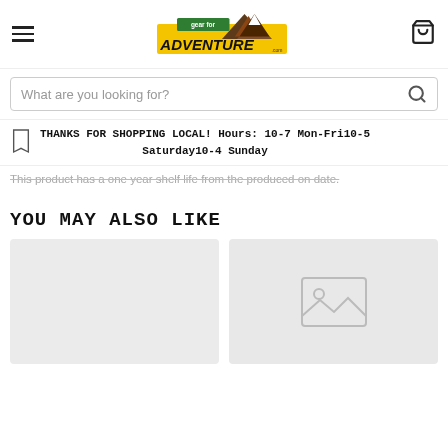Gear for Adventure — navigation header with hamburger menu and cart icon
What are you looking for?
THANKS FOR SHOPPING LOCAL! Hours: 10-7 Mon-Fri10-5 Saturday10-4 Sunday
This product has a one year shelf life from the produced on date.
YOU MAY ALSO LIKE
[Figure (photo): Product thumbnail placeholder 1 — light gray rectangle]
[Figure (photo): Product thumbnail placeholder 2 — light gray rectangle with image placeholder icon]